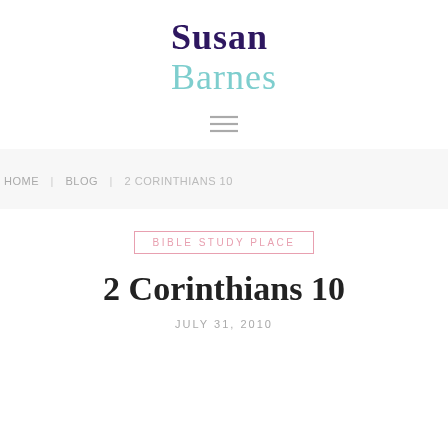Susan Barnes
[Figure (other): Hamburger menu icon with three horizontal lines]
HOME | BLOG | 2 CORINTHIANS 10
BIBLE STUDY PLACE
2 Corinthians 10
JULY 31, 2010